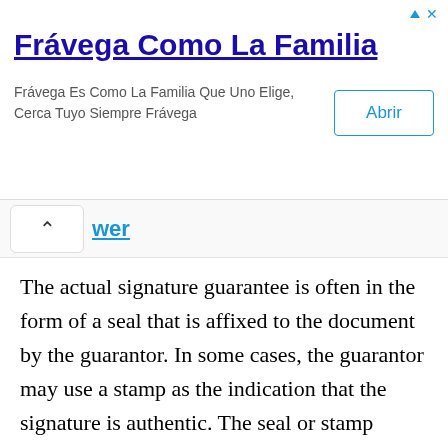[Figure (other): Advertisement banner for Frávega Como La Familia with title, subtitle text, and Abrir (Open) button]
The actual signature guarantee is often in the form of a seal that is affixed to the document by the guarantor. In some cases, the guarantor may use a stamp as the indication that the signature is authentic. The seal or stamp serves as assurance that the party who is selling or transferring the securities is the legal owner and has the right to transfer the assets as he or she sees fit. With the increasing potential for fraud today, failing to require a signature guarantee can lead to substantial losses for the